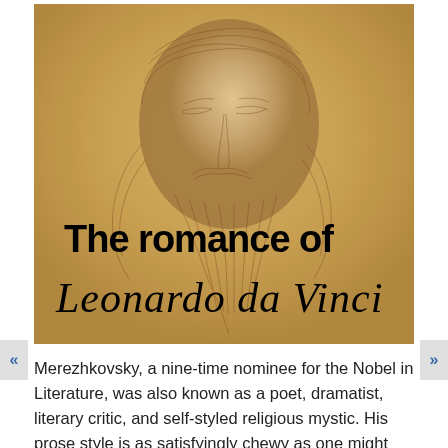[Figure (illustration): Book cover for 'The romance of Leonardo da Vinci' showing a Renaissance-style chalk portrait of an elderly bearded man (da Vinci self-portrait), with bold text 'The romance of' and italic script 'Leonardo da Vinci' overlaid on the image.]
Merezhkovsky, a nine-time nominee for the Nobel in Literature, was also known as a poet, dramatist, literary critic, and self-styled religious mystic. His prose style is as satisfyingly chewy as one might expect from a Russian writer with that kind of street cred, and The